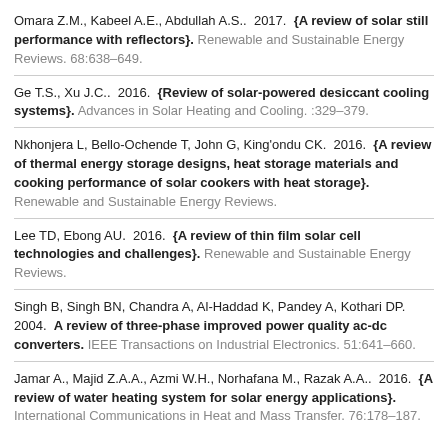Omara Z.M., Kabeel A.E., Abdullah A.S..  2017.  {A review of solar still performance with reflectors}. Renewable and Sustainable Energy Reviews. 68:638–649.
Ge T.S., Xu J.C..  2016.  {Review of solar-powered desiccant cooling systems}. Advances in Solar Heating and Cooling. :329–379.
Nkhonjera L, Bello-Ochende T, John G, King'ondu CK.  2016.  {A review of thermal energy storage designs, heat storage materials and cooking performance of solar cookers with heat storage}. Renewable and Sustainable Energy Reviews.
Lee TD, Ebong AU.  2016.  {A review of thin film solar cell technologies and challenges}. Renewable and Sustainable Energy Reviews.
Singh B, Singh BN, Chandra A, Al-Haddad K, Pandey A, Kothari DP.  2004.  A review of three-phase improved power quality ac-dc converters. IEEE Transactions on Industrial Electronics. 51:641–660.
Jamar A., Majid Z.A.A., Azmi W.H., Norhafana M., Razak A.A..  2016.  {A review of water heating system for solar energy applications}. International Communications in Heat and Mass Transfer. 76:178–187.